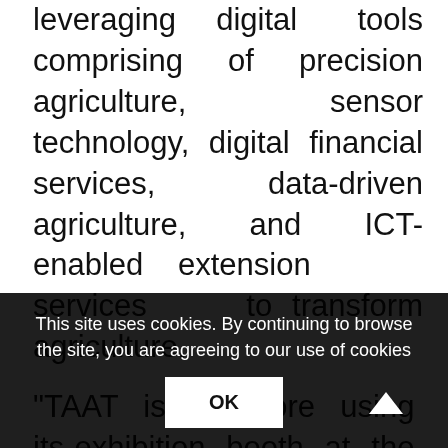leveraging digital tools comprising of precision agriculture, sensor technology, digital financial services, data-driven agriculture, and ICT-enabled extension services to transform agriculture.
“TAAT is therefore using its exhibition booth at the forum to showcase how it is deploying proven, digital technologies to transform African agriculture. Some of the success stories on display include... connecting Advice, the free Android... decision support tool for providing...
This site uses cookies. By continuing to browse the site, you are agreeing to our use of cookies